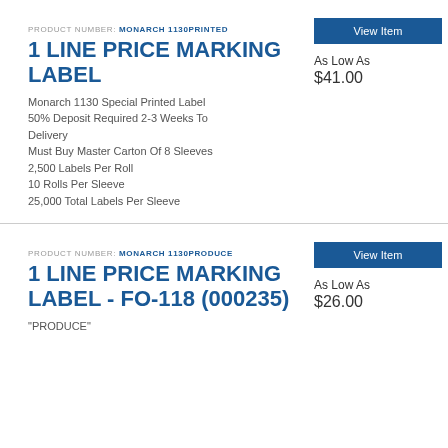PRODUCT NUMBER: MONARCH 1130PRINTED 1 LINE PRICE MARKING LABEL
Monarch 1130 Special Printed Label 50% Deposit Required 2-3 Weeks To Delivery
Must Buy Master Carton Of 8 Sleeves
2,500 Labels Per Roll
10 Rolls Per Sleeve
25,000 Total Labels Per Sleeve
View Item
As Low As $41.00
PRODUCT NUMBER: MONARCH 1130PRODUCE 1 LINE PRICE MARKING LABEL - FO-118 (000235)
"PRODUCE"
View Item
As Low As $26.00